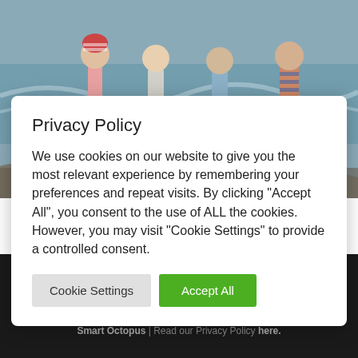[Figure (photo): Children standing at a rocky seashore looking at waves, photographed from behind]
Privacy Policy
We use cookies on our website to give you the most relevant experience by remembering your preferences and repeat visits. By clicking “Accept All”, you consent to the use of ALL the cookies. However, you may visit “Cookie Settings” to provide a controlled consent.
Cookie Settings | Accept All
[Figure (other): Facebook and Twitter social media icons in dark footer]
Copyright De Hoop Collection 2021 | Design by Smart Octopus | Read our Privacy Policy here.